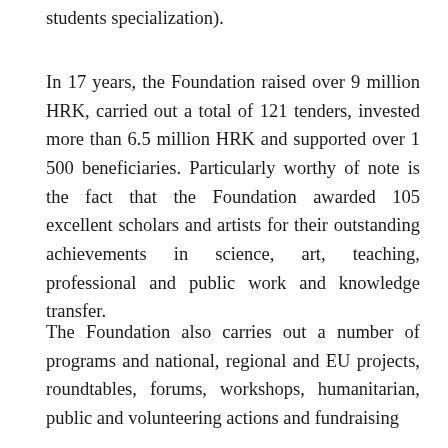students specialization).
In 17 years, the Foundation raised over 9 million HRK, carried out a total of 121 tenders, invested more than 6.5 million HRK and supported over 1 500 beneficiaries. Particularly worthy of note is the fact that the Foundation awarded 105 excellent scholars and artists for their outstanding achievements in science, art, teaching, professional and public work and knowledge transfer.
The Foundation also carries out a number of programs and national, regional and EU projects, roundtables, forums, workshops, humanitarian, public and volunteering actions and fundraising